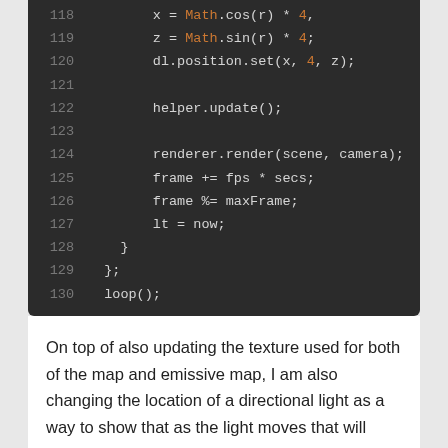[Figure (screenshot): Code editor screenshot showing JavaScript lines 118-130 with syntax highlighting on dark background. Lines show: x = Math.cos(r) * 4; z = Math.sin(r) * 4; dl.position.set(x, 4, z); helper.update(); renderer.render(scene, camera); frame += fps * secs; frame %= maxFrame; lt = now; } }; loop();]
On top of also updating the texture used for both of the map and emissive map, I am also changing the location of a directional light as a way to show that as the light moves that will effect the map. That is that the light source will effect the noise texture used with the map, but it will not do anything with the emssive map as that will always show up